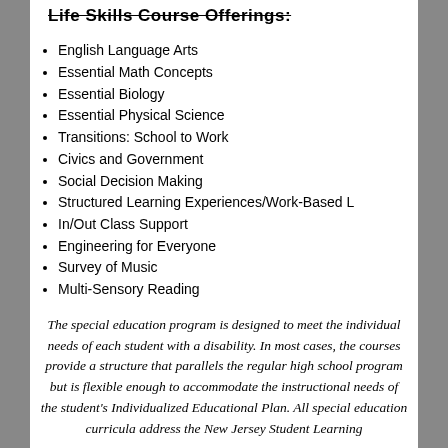Life Skills Course Offerings:
English Language Arts
Essential Math Concepts
Essential Biology
Essential Physical Science
Transitions: School to Work
Civics and Government
Social Decision Making
Structured Learning Experiences/Work-Based L
In/Out Class Support
Engineering for Everyone
Survey of Music
Multi-Sensory Reading
The special education program is designed to meet the individual needs of each student with a disability. In most cases, the courses provide a structure that parallels the regular high school program but is flexible enough to accommodate the instructional needs of the student's Individualized Educational Plan. All special education curricula address the New Jersey Student Learning